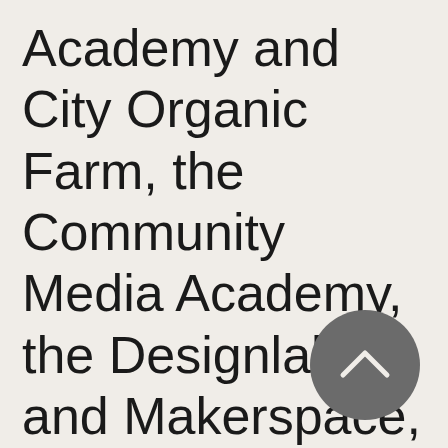Academy and City Organic Farm, the Community Media Academy, the Designlab and Makerspace, the Music and Dance Studio, and the Sports and Fitness centre. Anywhere between 30-
[Figure (other): A dark grey circular navigation button with an upward-pointing chevron/caret arrow in white, positioned in the lower right of the page.]